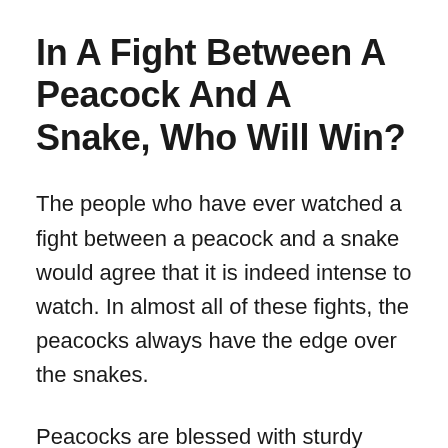In A Fight Between A Peacock And A Snake, Who Will Win?
The people who have ever watched a fight between a peacock and a snake would agree that it is indeed intense to watch. In almost all of these fights, the peacocks always have the edge over the snakes.
Peacocks are blessed with sturdy legs,